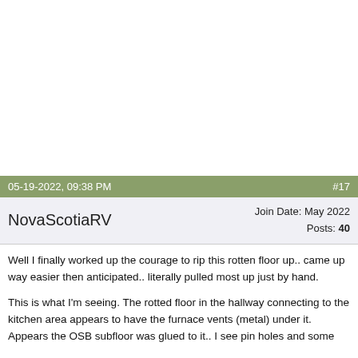05-19-2022, 09:38 PM   #17
NovaScotiaRV   Join Date: May 2022   Posts: 40
Well I finally worked up the courage to rip this rotten floor up.. came up way easier then anticipated.. literally pulled most up just by hand.
This is what I'm seeing. The rotted floor in the hallway connecting to the kitchen area appears to have the furnace vents (metal) under it. Appears the OSB subfloor was glued to it.. I see pin holes and some